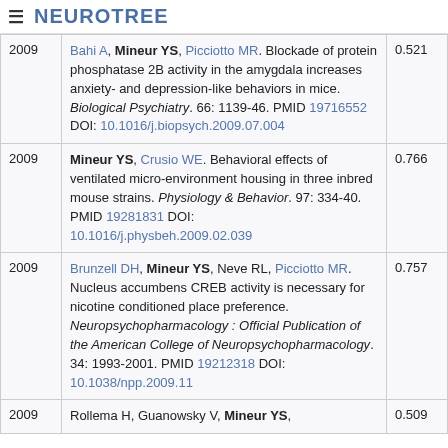≡ NEUROTREE
| Year | Reference | Score |
| --- | --- | --- |
| 2009 | Bahi A, Mineur YS, Picciotto MR. Blockade of protein phosphatase 2B activity in the amygdala increases anxiety- and depression-like behaviors in mice. Biological Psychiatry. 66: 1139-46. PMID 19716552 DOI: 10.1016/j.biopsych.2009.07.004 | 0.521 |
| 2009 | Mineur YS, Crusio WE. Behavioral effects of ventilated micro-environment housing in three inbred mouse strains. Physiology & Behavior. 97: 334-40. PMID 19281831 DOI: 10.1016/j.physbeh.2009.02.039 | 0.766 |
| 2009 | Brunzell DH, Mineur YS, Neve RL, Picciotto MR. Nucleus accumbens CREB activity is necessary for nicotine conditioned place preference. Neuropsychopharmacology : Official Publication of the American College of Neuropsychopharmacology. 34: 1993-2001. PMID 19212318 DOI: 10.1038/npp.2009.11 | 0.757 |
| 2009 | Rollema H, Guanowsky V, Mineur YS, ... | 0.509 |